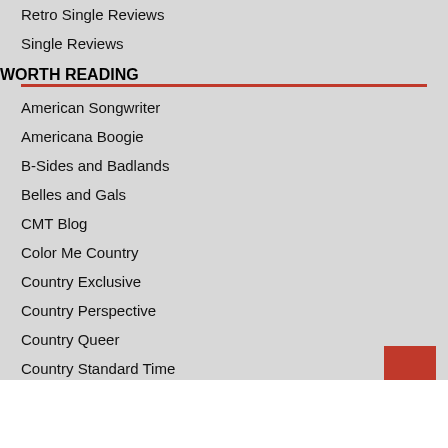Retro Single Reviews
Single Reviews
WORTH READING
American Songwriter
Americana Boogie
B-Sides and Badlands
Belles and Gals
CMT Blog
Color Me Country
Country Exclusive
Country Perspective
Country Queer
Country Standard Time
Don't Rock the Inbox (Newsletter)
Hard Times No More